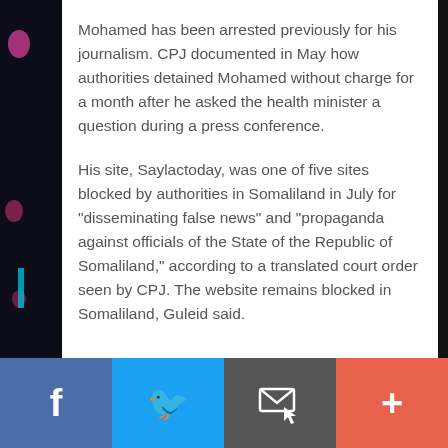Mohamed has been arrested previously for his journalism. CPJ documented in May how authorities detained Mohamed without charge for a month after he asked the health minister a question during a press conference.
His site, Saylactoday, was one of five sites blocked by authorities in Somaliland in July for "disseminating false news" and "propaganda against officials of the State of the Republic of Somaliland," according to a translated court order seen by CPJ. The website remains blocked in Somaliland, Guleid said.
[Figure (other): Social sharing toolbar with Facebook, Twitter, email/bookmark, and plus (+) buttons]